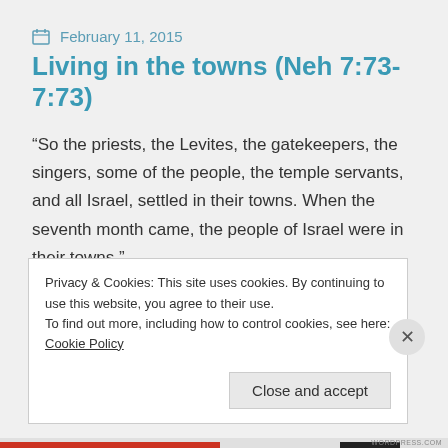February 11, 2015
Living in the towns (Neh 7:73-7:73)
“So the priests, the Levites, the gatekeepers, the singers, some of the people, the temple servants, and all Israel, settled in their towns. When the seventh month came, the people of Israel were in their towns.”
Privacy & Cookies: This site uses cookies. By continuing to use this website, you agree to their use.
To find out more, including how to control cookies, see here: Cookie Policy
Close and accept